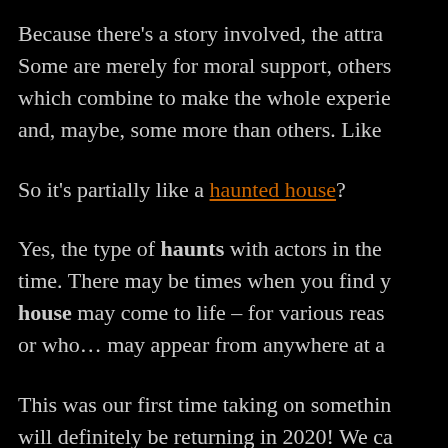Because there's a story involved, the attra... Some are merely for moral support, others... which combine to make the whole experie... and, maybe, some more than others. Like...
So it's partially like a haunted house?
Yes, the type of haunts with actors in the... time. There may be times when you find y... house may come to life – for various reas... or who… may appear from anywhere at a...
This was our first time taking on somethin... will definitely be returning in 2020! We ca... that there's nothing else like this in the are...